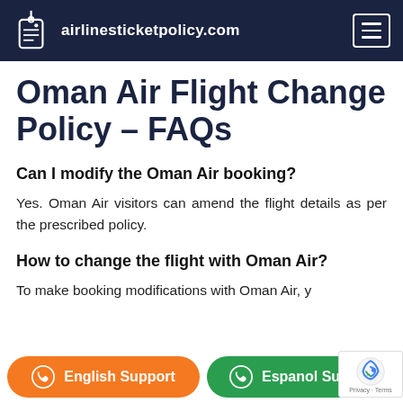airlinesticketpolicy.com
Oman Air Flight Change Policy – FAQs
Can I modify the Oman Air booking?
Yes. Oman Air visitors can amend the flight details as per the prescribed policy.
How to change the flight with Oman Air?
To make booking modifications with Oman Air, y